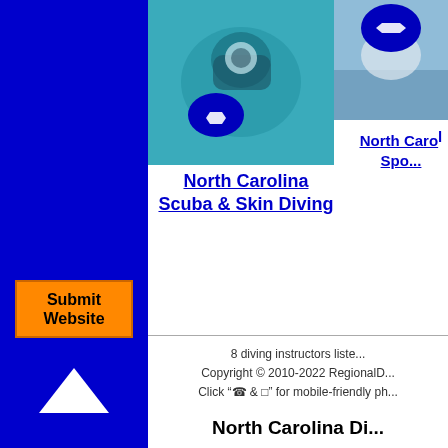[Figure (photo): Scuba diver underwater with North Carolina state badge overlay]
[Figure (photo): Bird/water scene with North Carolina state badge overlay]
North Carolina Scuba & Skin Diving
North Carolina Spo...
8 diving instructors liste...
Copyright © 2010-2022 RegionalD...
Click "☎ & □" for mobile-friendly ph...
North Carolina Di...